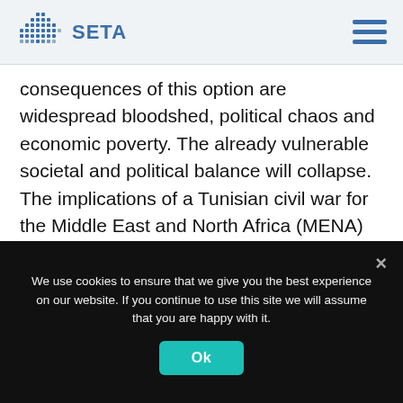SETA
consequences of this option are widespread bloodshed, political chaos and economic poverty. The already vulnerable societal and political balance will collapse. The implications of a Tunisian civil war for the Middle East and North Africa (MENA) will be quite large.
Third, if Saied returns to normalcy and gives the constitutional power to the parliament and leads the formation of a new government, then the current
We use cookies to ensure that we give you the best experience on our website. If you continue to use this site we will assume that you are happy with it.